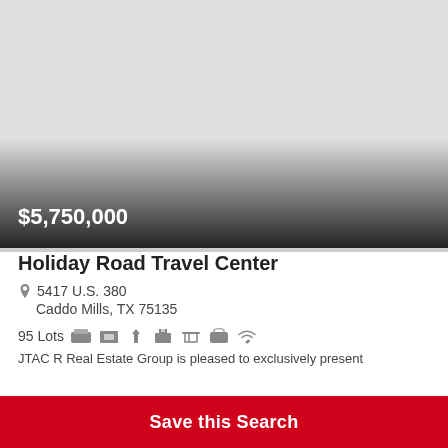[Figure (photo): Property listing photo with dark gradient overlay at bottom showing price $5,750,000]
Holiday Road Travel Center
5417 U.S. 380
Caddo Mills, TX 75135
95 Lots [amenity icons]
JTAC R Real Estate Group is pleased to exclusively present
Save this Search